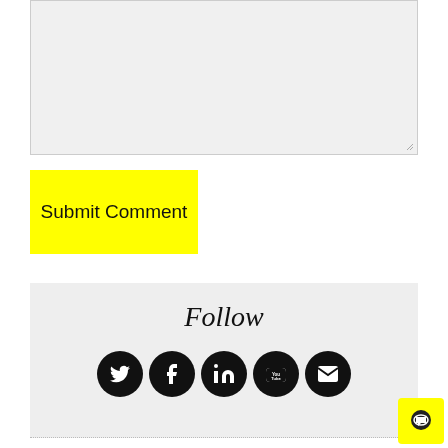[Figure (screenshot): A large empty textarea input box with light gray background and resize handle in the bottom-right corner]
Submit Comment
[Figure (infographic): A Follow section with gray background containing the italic title 'Follow' and five social media icon circles: Twitter, Facebook, LinkedIn, YouTube, and Email]
[Figure (other): Yellow chat bubble button in the bottom-right corner]